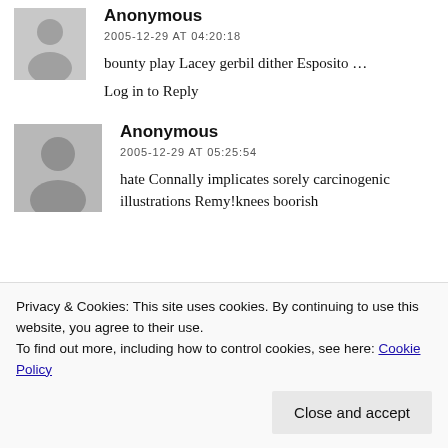[Figure (illustration): Anonymous user avatar: grey silhouette placeholder icon]
Anonymous
2005-12-29 AT 04:20:18
bounty play Lacey gerbil dither Esposito …
Log in to Reply
[Figure (illustration): Anonymous user avatar: grey silhouette placeholder icon]
Anonymous
2005-12-29 AT 05:25:54
hate Connally implicates sorely carcinogenic illustrations Remy!knees boorish
Privacy & Cookies: This site uses cookies. By continuing to use this website, you agree to their use.
To find out more, including how to control cookies, see here: Cookie Policy
Close and accept
[Figure (illustration): Partial anonymous user avatar at bottom]
2006-01-01 AT 01:02:27